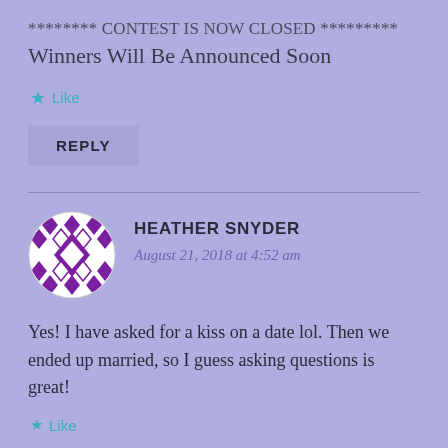******** CONTEST IS NOW CLOSED *********
Winners Will Be Announced Soon
★ Like
REPLY
HEATHER SNYDER
August 21, 2018 at 4:52 am
Yes! I have asked for a kiss on a date lol. Then we ended up married, so I guess asking questions is great!
★ Like